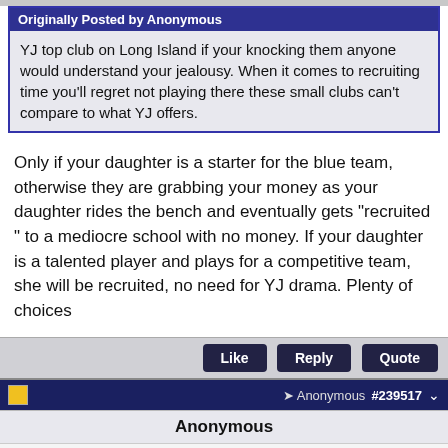Originally Posted by Anonymous
YJ top club on Long Island if your knocking them anyone would understand your jealousy. When it comes to recruiting time you'll regret not playing there these small clubs can't compare to what YJ offers.
Only if your daughter is a starter for the blue team, otherwise they are grabbing your money as your daughter rides the bench and eventually gets "recruited " to a mediocre school with no money. If your daughter is a talented player and plays for a competitive team, she will be recruited, no need for YJ drama. Plenty of choices
Like  Reply  Quote
Anonymous  #239517
Anonymous
Official NFL Gear
Get Your Favorite Team's Gear Here
www.nflshop.com